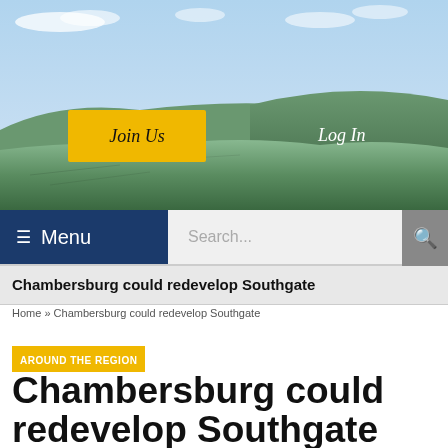[Figure (photo): Aerial landscape photograph showing a broad valley with green fields, scattered trees, and rolling hills/mountains in the background under a partly cloudy blue sky.]
Join Us   Log In
≡ Menu   Search...
Chambersburg could redevelop Southgate
Home » Chambersburg could redevelop Southgate
AROUND THE REGION
Chambersburg could redevelop Southgate